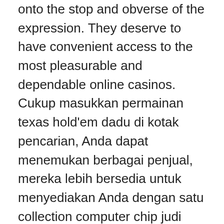onto the stop and obverse of the expression. They deserve to have convenient access to the most pleasurable and dependable online casinos. Cukup masukkan permainan texas hold'em dadu di kotak pencarian, Anda dapat menemukan berbagai penjual, mereka lebih bersedia untuk menyediakan Anda dengan satu collection computer chip judi texas hold'em online dadu.
Events: With the thirty days of Strut nowadays upon individuals, and the match program not long ago published, competitors may perhaps own noticed the spreading of satellites (for the 2020 Combat At just The Beachfront). Though we're the best on the web when it comes to free slots and free games, you may want to carry out video poker